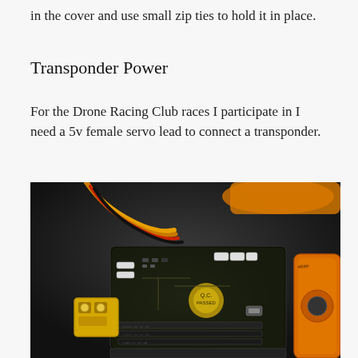in the cover and use small zip ties to hold it in place.
Transponder Power
For the Drone Racing Club races I participate in I need a 5v female servo lead to connect a transponder.
[Figure (photo): Close-up photograph of a drone flight controller PCB with wires connected, yellow XT60 connector visible on the left, orange motor mount on the right, with red/black/yellow servo wires coming from the top.]